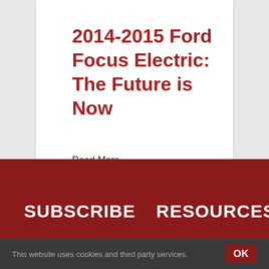2014-2015 Ford Focus Electric: The Future is Now
Read More ›
SUBSCRIBE
RESOURCES
This website uses cookies and third party services. OK